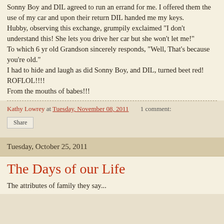Sonny Boy and DIL agreed to run an errand for me. I offered them the use of my car and upon their return DIL handed me my keys.
Hubby, observing this exchange, grumpily exclaimed "I don't understand this! She lets you drive her car but she won't let me!"
To which 6 yr old Grandson sincerely responds, "Well, That's because you're old."
I had to hide and laugh as did Sonny Boy, and DIL, turned beet red! ROFLOL!!!!
From the mouths of babes!!!
Kathy Lowrey at Tuesday, November 08, 2011   1 comment:
Share
Tuesday, October 25, 2011
The Days of our Life
The attributes of family they say...